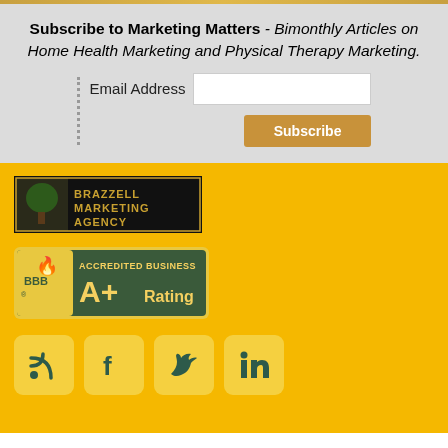Subscribe to Marketing Matters - Bimonthly Articles on Home Health Marketing and Physical Therapy Marketing.
Email Address
[Figure (logo): Brazzell Marketing Agency logo - black background with tree image and gold text]
[Figure (logo): BBB Accredited Business A+ Rating badge - green and gold]
[Figure (infographic): Social media icons: RSS feed, Facebook, Twitter, LinkedIn - dark teal icons on light yellow rounded square backgrounds]